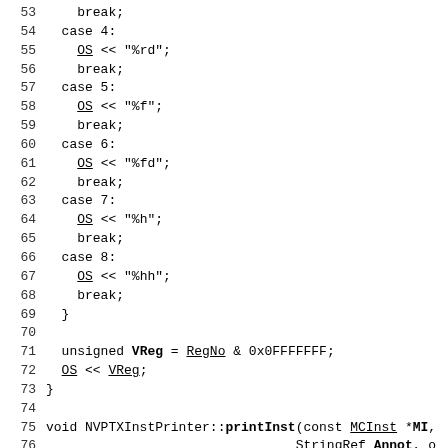Code listing lines 53-82 showing C++ case statements and void NVPTXInstPrinter::printInst function